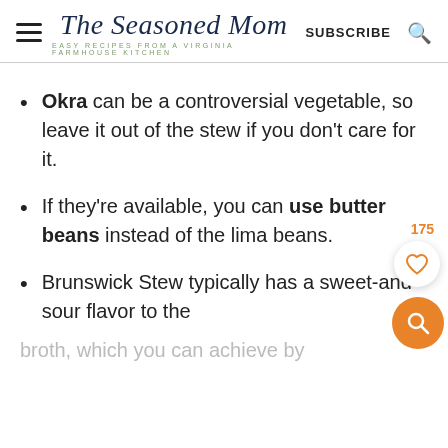The Seasoned Mom — EASY RECIPES FROM A VIRGINIA FARMHOUSE KITCHEN — SUBSCRIBE
Okra can be a controversial vegetable, so leave it out of the stew if you don't care for it.
If they're available, you can use butter beans instead of the lima beans.
Brunswick Stew typically has a sweet-and-sour flavor to the broth, which you can achieve by